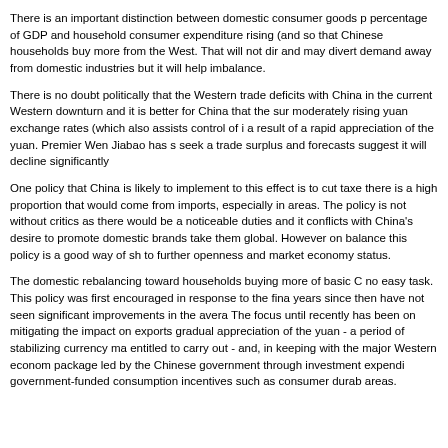There is an important distinction between domestic consumer goods percentage of GDP and household consumer expenditure rising (and so that Chinese households buy more from the West. That will not dir and may divert demand away from domestic industries but it will help imbalance.
There is no doubt politically that the Western trade deficits with China in the current Western downturn and it is better for China that the sur moderately rising yuan exchange rates (which also assists control of a result of a rapid appreciation of the yuan. Premier Wen Jiabao has seek a trade surplus and forecasts suggest it will decline significantly
One policy that China is likely to implement to this effect is to cut taxe there is a high proportion that would come from imports, especially in areas. The policy is not without critics as there would be a noticeable duties and it conflicts with China's desire to promote domestic brands take them global. However on balance this policy is a good way of sh to further openness and market economy status.
The domestic rebalancing toward households buying more of basic C no easy task. This policy was first encouraged in response to the fina years since then have not seen significant improvements in the avera The focus until recently has been on mitigating the impact on exports gradual appreciation of the yuan - a period of stabilizing currency ma entitled to carry out - and, in keeping with the major Western econom package led by the Chinese government through investment expend government-funded consumption incentives such as consumer durab areas.